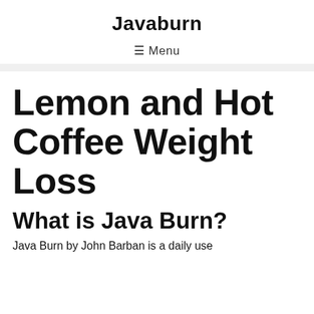Javaburn
≡ Menu
Lemon and Hot Coffee Weight Loss
What is Java Burn?
Java Burn by John Barban is a daily use